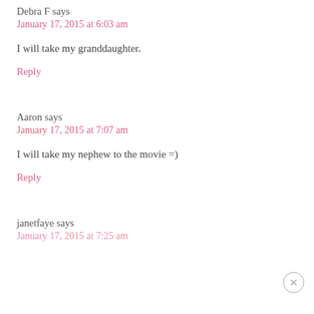Debra F says
January 17, 2015 at 6:03 am
I will take my granddaughter.
Reply
Aaron says
January 17, 2015 at 7:07 am
I will take my nephew to the movie =)
Reply
janetfaye says
January 17, 2015 at 7:25 am